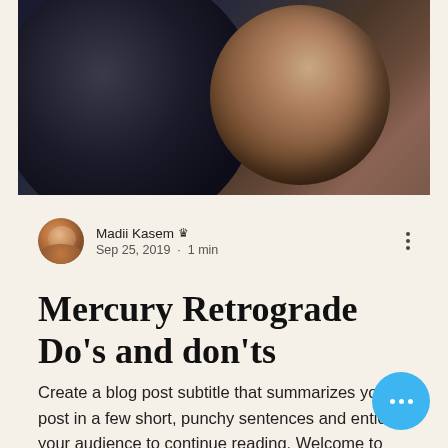[Figure (photo): Dark space/astronomy hero image showing a partial dark planet or moon on the left against a starry dark background, and a brownish-orange planet or moon on the right side, partially visible.]
Madii Kasem 👑
Sep 25, 2019 · 1 min
Mercury Retrograde Do's and don'ts
Create a blog post subtitle that summarizes your post in a few short, punchy sentences and entices your audience to continue reading. Welcome to your blog post. Use this space to connect